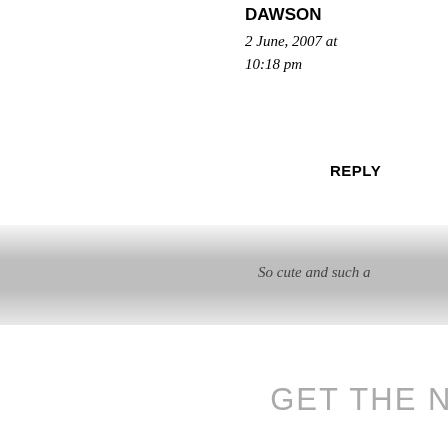DAWSON
2 June, 2007 at 10:18 pm
REPLY
So cute and such a
GET THE NEWSLETTER
Sign up for my newsletter to receive my latest promotions, products, and other news!
enter your e
sign up